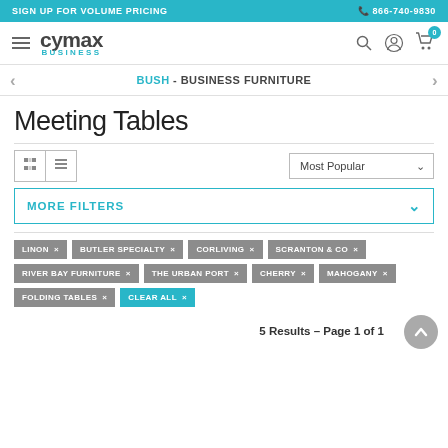SIGN UP FOR VOLUME PRICING | 866-740-9830
[Figure (logo): Cymax Business logo with hamburger menu and nav icons (search, account, cart)]
BUSH - BUSINESS FURNITURE
Meeting Tables
MORE FILTERS
LINON ×
BUTLER SPECIALTY ×
CORLIVING ×
SCRANTON & CO ×
RIVER BAY FURNITURE ×
THE URBAN PORT ×
CHERRY ×
MAHOGANY ×
FOLDING TABLES ×
CLEAR ALL ×
5 Results – Page 1 of 1